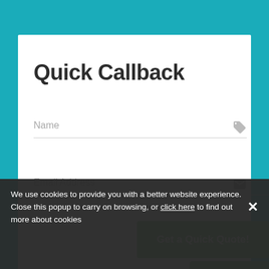Quick Callback
Name
Email Address
Get a Quick Quote!
We use cookies to provide you with a better website experience. Close this popup to carry on browsing, or click here to find out more about cookies